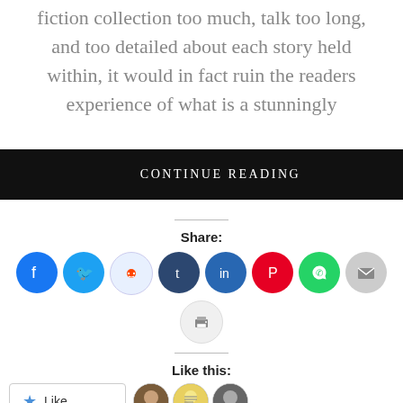fiction collection too much, talk too long, and too detailed about each story held within, it would in fact ruin the readers experience of what is a stunningly
CONTINUE READING
Share:
[Figure (infographic): Social sharing icons: Facebook, Twitter, Reddit, Tumblr, LinkedIn, Pinterest, WhatsApp, Email, Print]
Like this:
[Figure (infographic): Like button and three blogger avatars]
3 bloggers like this.